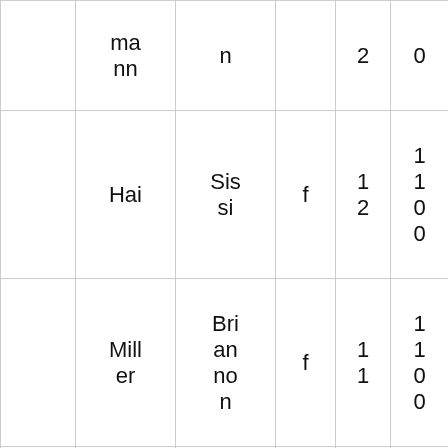|  | mann | n |  | 2 | 0 |
|  | Hai | Sissi | f | 12 | 1
1
0
0 |
|  | Miller | Briannon | f | 11 | 1
1
0
0 |
|  | Russell | Elizabeth | f | 11 | 1
1
0 |